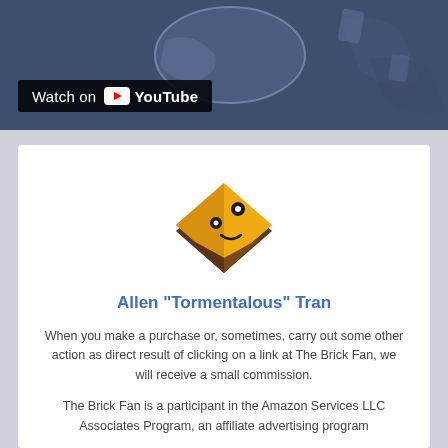[Figure (screenshot): YouTube video thumbnail with 'Watch on YouTube' overlay button on a dark blue/grey background]
[Figure (logo): Tormentalous logo: a cute golden/yellow diamond-shaped block character with cartoon eyes and a smile, layered like a LEGO brick]
Allen "Tormentalous" Tran
When you make a purchase or, sometimes, carry out some other action as direct result of clicking on a link at The Brick Fan, we will receive a small commission.
The Brick Fan is a participant in the Amazon Services LLC Associates Program, an affiliate advertising program